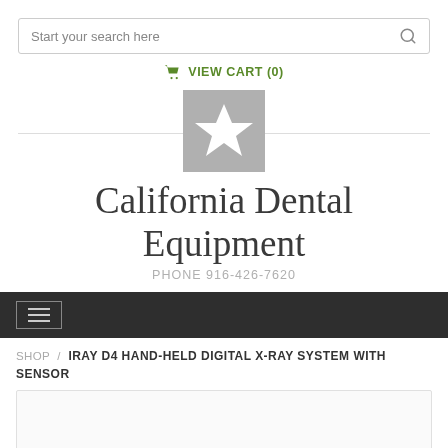Start your search here
VIEW CART (0)
[Figure (logo): Gray square logo with white star in center]
California Dental Equipment
PHONE 916-426-7620
[Figure (screenshot): Dark navigation bar with hamburger menu button]
SHOP / IRAY D4 HAND-HELD DIGITAL X-RAY SYSTEM WITH SENSOR
[Figure (photo): Product image area (partially visible, cut off at bottom)]